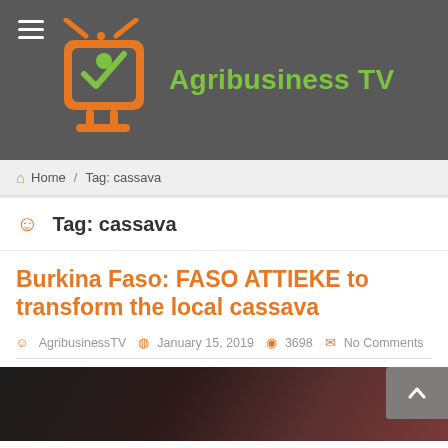Agribusiness TV
Home / Tag: cassava
Tag: cassava
Burkina Faso: FASO ATTIEKE to transform the local cassava
AgribusinessTV  January 15, 2019  3698  No Comments
[Figure (photo): Partial image of a woman with a red patterned head covering, likely related to the cassava article]